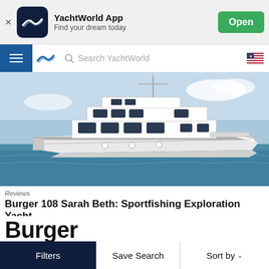[Figure (screenshot): YachtWorld App banner with logo, name 'YachtWorld App', subtitle 'Find your dream today', and green Open button]
[Figure (screenshot): YachtWorld navigation bar with hamburger menu, logo, search field 'Search YachtWorld', and US flag icon]
[Figure (photo): Large white sportfishing motor yacht underway on open water, photographed from the side]
Reviews
Burger 108 Sarah Beth: Sportfishing Exploration Yacht
Burger
[Figure (screenshot): Bottom navigation bar with Filters, Save Search, and Sort by controls]